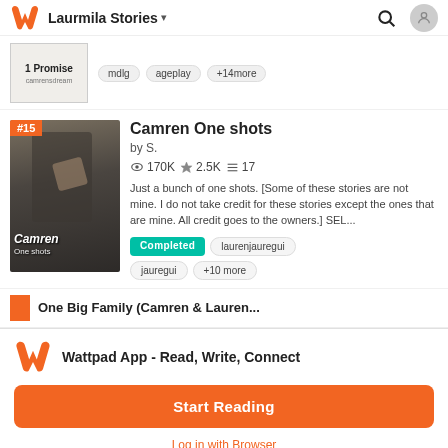Laurmila Stories
[Figure (screenshot): Partial story card showing '1 Promise' by camrensdream with tags: mdig, ageplay, +14more]
Camren One shots
by S.
170K 2.5K 17
Just a bunch of one shots. [Some of these stories are not mine. I do not take credit for these stories except the ones that are mine. All credit goes to the owners.] SEL...
Completed  laurenjauregui  jauregui  +10 more
[Figure (screenshot): Partial bottom story card, partially visible]
Wattpad App - Read, Write, Connect
Start Reading
Log in with Browser